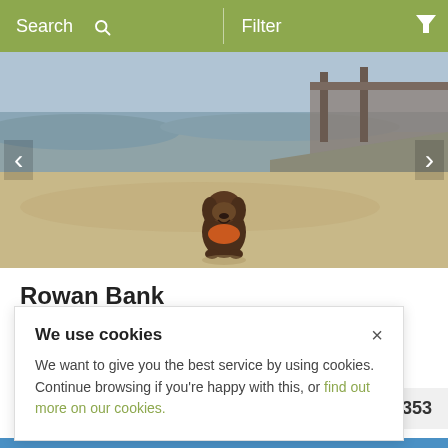Search   Filter
[Figure (photo): A brown fluffy dog wearing an orange harness sitting on a sandy beach. In the background there is water, a bridge, and a rocky embankment.]
Rowan Bank
Arnside, Cumbria
We use cookies
We want to give you the best service by using cookies. Continue browsing if you're happy with this, or find out more on our cookies.
£1,353